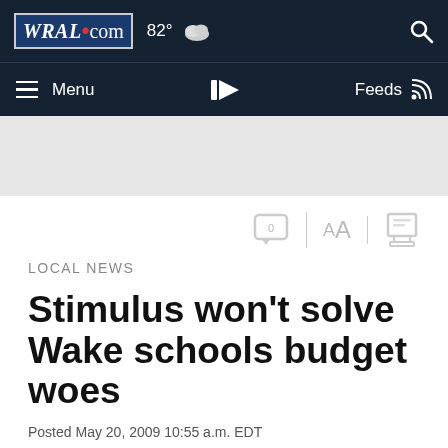WRAL.com  82°  Menu  Feeds
[Figure (screenshot): Gray advertisement banner area]
LOCAL NEWS
Stimulus won't solve Wake schools budget woes
Posted May 20, 2009 10:55 a.m. EDT